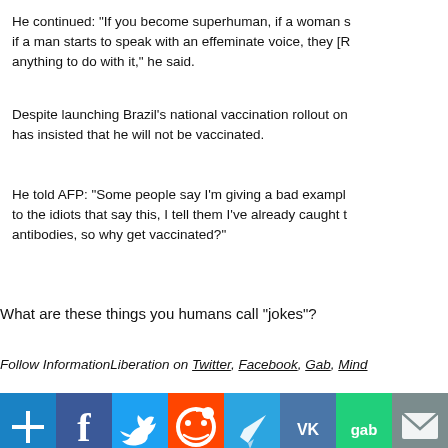He continued: "If you become superhuman, if a woman starts to speak with an effeminate voice, they [R...] anything to do with it," he said.
Despite launching Brazil's national vaccination rollout on... has insisted that he will not be vaccinated.
He told AFP: "Some people say I'm giving a bad example... to the idiots that say this, I tell them I've already caught... antibodies, so why get vaccinated?"
What are these things you humans call "jokes"?
Follow InformationLiberation on Twitter, Facebook, Gab, Mind...
[Figure (infographic): Row of social media share buttons: plus/share, Facebook, Twitter, Reddit, Telegram, VK, Gab, Email]